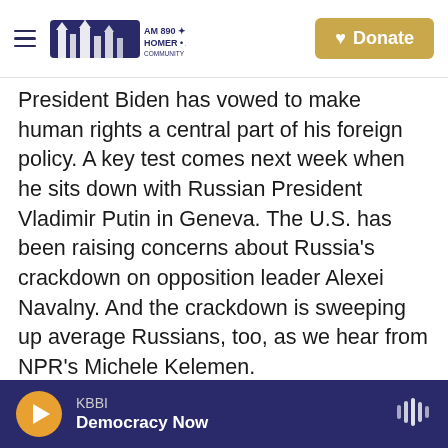KBBI AM 890 Homer Alaska | Donate
President Biden has vowed to make human rights a central part of his foreign policy. A key test comes next week when he sits down with Russian President Vladimir Putin in Geneva. The U.S. has been raising concerns about Russia's crackdown on opposition leader Alexei Navalny. And the crackdown is sweeping up average Russians, too, as we hear from NPR's Michele Kelemen.
MICHELE KELEMEN, BYLINE: In 1985, a well-known Soviet actor escaped Yugoslavia in the trunk of a car and then defected to the United States.
(SOUNDBITE OF ARCHIVED RECORDING)
KBBI Democracy Now